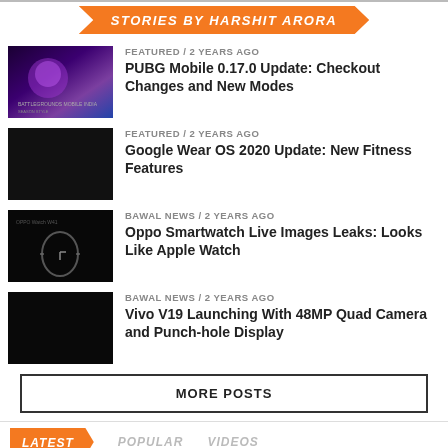STORIES BY HARSHIT ARORA
FEATURED / 2 years ago — PUBG Mobile 0.17.0 Update: Checkout Changes and New Modes
FEATURED / 2 years ago — Google Wear OS 2020 Update: New Fitness Features
BAWAL NEWS / 2 years ago — Oppo Smartwatch Live Images Leaks: Looks Like Apple Watch
BAWAL NEWS / 2 years ago — Vivo V19 Launching With 48MP Quad Camera and Punch-hole Display
MORE POSTS
LATEST   POPULAR   VIDEOS